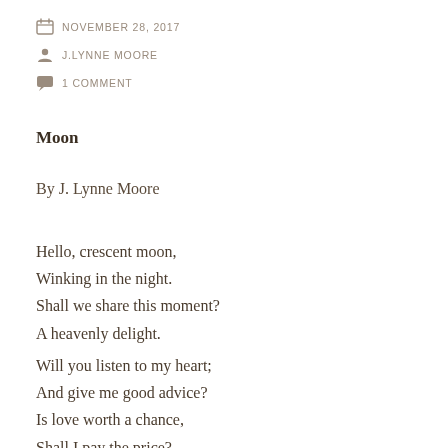NOVEMBER 28, 2017 | J.LYNNE MOORE | 1 COMMENT
Moon
By J. Lynne Moore
Hello, crescent moon,
Winking in the night.
Shall we share this moment?
A heavenly delight.
Will you listen to my heart;
And give me good advice?
Is love worth a chance,
Shall I pay the price?